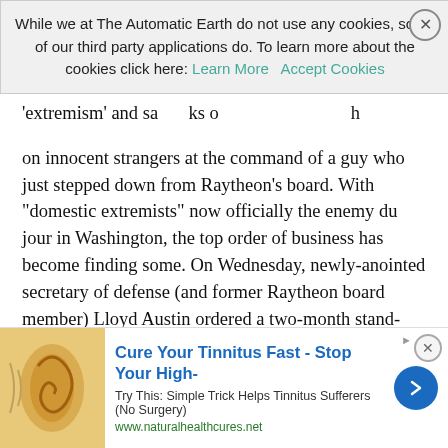[Figure (screenshot): Cookie consent banner overlay with text: 'While we at The Automatic Earth do not use any cookies, some of our third party applications do. To learn more about the cookies click here:' with 'Learn More' and 'Accept Cookies' buttons, and a close (X) button.]
on innocent strangers at the command of a guy who just stepped down from Raytheon's board. With “domestic extremists” now officially the enemy du jour in Washington, the top order of business has become finding some. On Wednesday, newly-anointed secretary of defense (and former Raytheon board member) Lloyd Austin ordered a two-month stand-down so that commanders could engage in “needed discussions” with their subordinates on the issue. Did we mention they have a lot of subordinates? There are 3.6 million service members in the most expensive military in the world, and evaluating every single one of them for a characteristic that lacks even a universally-agreed-upon definition is certain to be both time-consuming and frustrating.
It’s also quite likely to backfire. Being spuriously accused of “domestic extremism” is the sort of thing that might turn an ‘ordinary’ soldier into an anti-government ‘extremist.’ After all, what sort of
[Figure (infographic): Advertisement banner at bottom: 'Cure Your Tinnitus Fast - Stop Your High-' in bold blue text. Subtext: 'Try This: Simple Trick Helps Tinnitus Sufferers (No Surgery)'. URL: www.naturalhealthcures.net. Left side shows an illustration of an ear. Right side has a blue circular arrow button. Close button (x) at top right.]